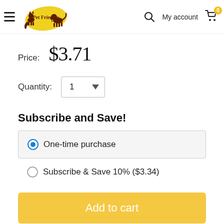Pet Friendly — My account — Cart (0)
Price: $3.71
Quantity: 1
Subscribe and Save!
One-time purchase
Subscribe & Save 10% ($3.34)
Add to cart